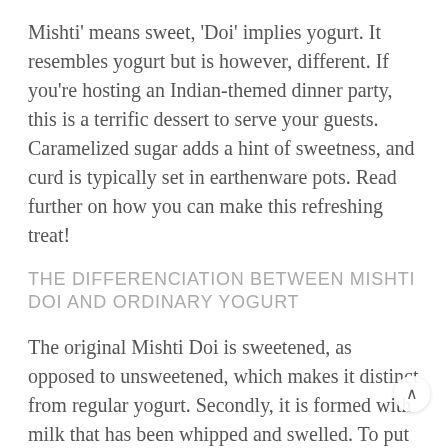Mishti' means sweet, 'Doi' implies yogurt. It resembles yogurt but is however, different. If you're hosting an Indian-themed dinner party, this is a terrific dessert to serve your guests. Caramelized sugar adds a hint of sweetness, and curd is typically set in earthenware pots. Read further on how you can make this refreshing treat!
THE DIFFERENCIATION BETWEEN MISHTI DOI AND ORDINARY YOGURT
The original Mishti Doi is sweetened, as opposed to unsweetened, which makes it distinct from regular yogurt. Secondly, it is formed with milk that has been whipped and swelled. To put it another way, the m is cooked down and thickened before the sugar and